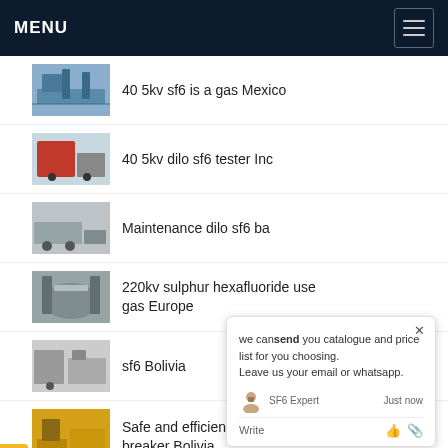MENU
40 5kv sf6 is a gas Mexico
40 5kv dilo sf6 tester Inc
Maintenance dilo sf6 ba
220kv sulphur hexafluoride use gas Europe
sf6 Bolivia
Safe and efficient siemens 220 kv circuit breaker Bolivia
we can send you catalogue and price list for you choosing. Leave us your email or whatsapp.
SF6 Expert  Just now
Write